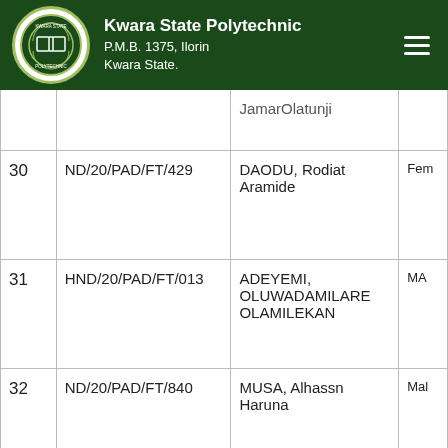Kwara State Polytechnic P.M.B. 1375, Ilorin Kwara State.
| # | Reg. No. | Name | Sex |
| --- | --- | --- | --- |
|  |  | JamarOlatunji |  |
| 30 | ND/20/PAD/FT/429 | DAODU, Rodiat Aramide | Fem |
| 31 | HND/20/PAD/FT/013 | ADEYEMI, OLUWADAMILARE OLAMILEKAN | MA |
| 32 | ND/20/PAD/FT/840 | MUSA, Alhassn Haruna | Mal |